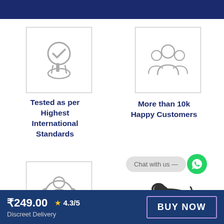[Figure (illustration): Hand with checkmark circle icon in a bordered box]
Tested as per Highest International Standards
[Figure (illustration): Group of people / happy customers icon in a bordered box]
More than 10k Happy Customers
[Figure (illustration): Person with refresh/recycle arrows icon in a bordered box]
[Figure (illustration): Chat with us bubble and WhatsApp button]
[Figure (illustration): Make in India lion logo]
₹249.00   ★ 4.3/5   Discreet Delivery
BUY NOW